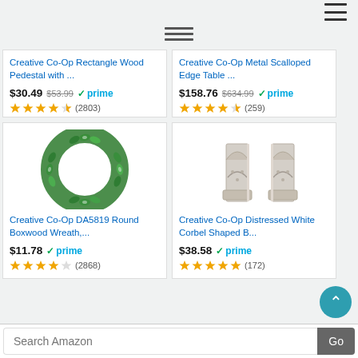[Figure (screenshot): Amazon product listing page showing 4 Creative Co-Op products in a 2x2 grid]
Creative Co-Op Rectangle Wood Pedestal with ...
$30.49  $53.99  prime
★★★★½ (2803)
Creative Co-Op Metal Scalloped Edge Table ...
$158.76  $634.99  prime
★★★★½ (259)
[Figure (photo): Green round boxwood wreath]
Creative Co-Op DA5819 Round Boxwood Wreath,...
$11.78  prime
★★★★☆ (2868)
[Figure (photo): Distressed white corbel shaped bookends]
Creative Co-Op Distressed White Corbel Shaped B...
$38.58  prime
★★★★★ (172)